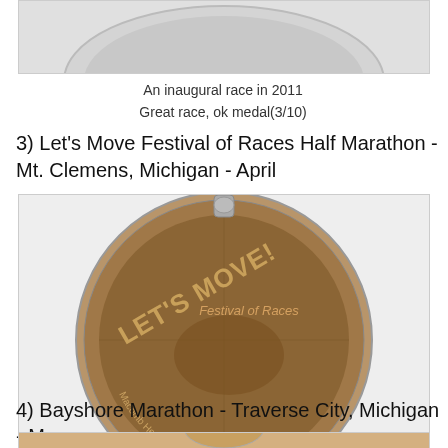[Figure (photo): Top of a race medal, partially cropped at the top of the page]
An inaugural race in 2011
Great race, ok medal(3/10)
3) Let's Move Festival of Races Half Marathon - Mt. Clemens, Michigan - April
[Figure (photo): Bronze/copper colored circular race medal for Let's Move Festival of Races, featuring a running shoe graphic and text 'Macomb Health and Fitness Foundation']
An inaugural race in 2011
Ok race, crap medal(1/10)
4) Bayshore Marathon - Traverse City, Michigan - May
[Figure (photo): Top of another race medal, partially visible at bottom of page]